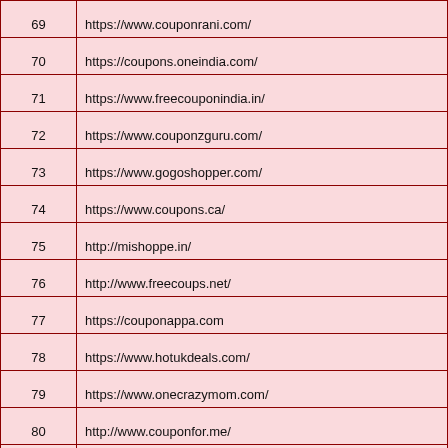| # | URL |
| --- | --- |
| 69 | https://www.couponrani.com/ |
| 70 | https://coupons.oneindia.com/ |
| 71 | https://www.freecouponindia.in/ |
| 72 | https://www.couponzguru.com/ |
| 73 | https://www.gogoshopper.com/ |
| 74 | https://www.coupons.ca/ |
| 75 | http://mishoppe.in/ |
| 76 | http://www.freecoups.net/ |
| 77 | https://couponappa.com |
| 78 | https://www.hotukdeals.com/ |
| 79 | https://www.onecrazymom.com/ |
| 80 | http://www.couponfor.me/ |
| 81 | http://www.couponconnector.com/ |